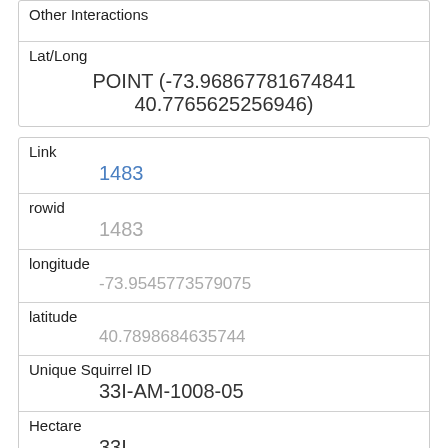| Other Interactions |  |
| Lat/Long | POINT (-73.96867781674841 40.7765625256946) |
| Link | 1483 |
| rowid | 1483 |
| longitude | -73.9545773579075 |
| latitude | 40.7898684635744 |
| Unique Squirrel ID | 33I-AM-1008-05 |
| Hectare | 33I |
| Shift | AM |
| Date | 10082018 |